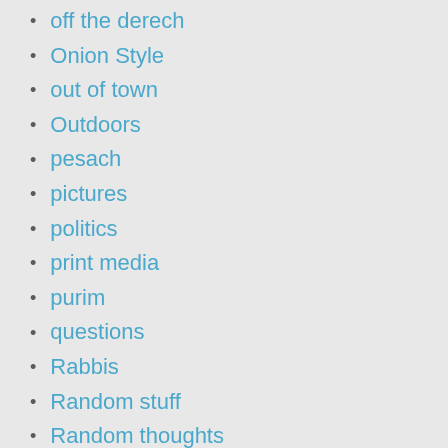off the derech
Onion Style
out of town
Outdoors
pesach
pictures
politics
print media
purim
questions
Rabbis
Random stuff
Random thoughts
Rants
Rebels
reform conservative egal
restaurant review
reviews
ROI Summit